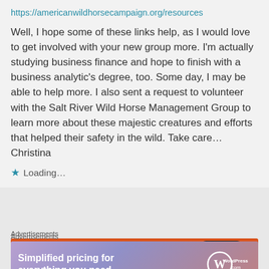https://americanwildhorsecampaign.org/resources
Well, I hope some of these links help, as I would love to get involved with your new group more. I'm actually studying business finance and hope to finish with a business analytic's degree, too. Some day, I may be able to help more. I also sent a request to volunteer with the Salt River Wild Horse Management Group to learn more about these majestic creatures and efforts that helped their safety in the wild. Take care...Christina
Loading...
Advertisements
[Figure (screenshot): DuckDuckGo advertisement banner: orange background with white bold text 'Search, browse, and email with more privacy.' with a phone image on the right showing the DuckDuckGo app icon.]
Advertisements
[Figure (screenshot): WordPress.com advertisement banner with gradient purple/pink background. Text reads 'Simplified pricing for everything you need.' with WordPress.com logo on the right.]